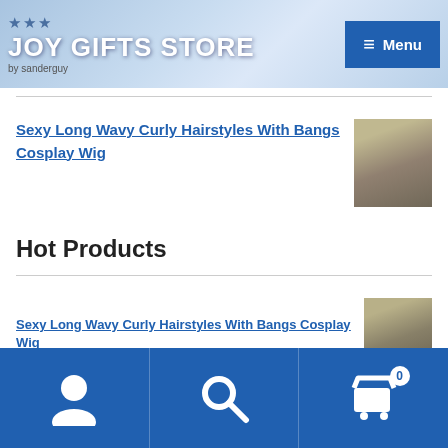JOY GIFTS STORE | by sanderguy
Sexy Long Wavy Curly Hairstyles With Bangs Cosplay Wig
Hot Products
Sexy Long Wavy Curly Hairstyles With Bangs Cosplay Wig
Skull, Gun and Rose Temporary Tattoo Sticker
Sexy Rose Armband Temporary Tattoos
User | Search | Cart (0)